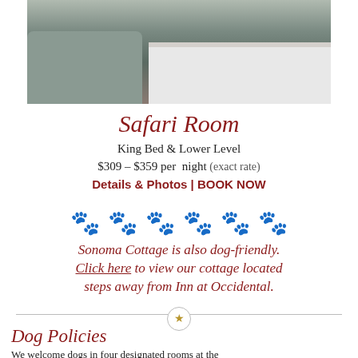[Figure (photo): Interior photo of Safari Room showing a gray armchair in foreground and white bed with bedskirt in background on dark carpet]
Safari Room
King Bed & Lower Level
$309 – $359 per night (exact rate)
Details & Photos | BOOK NOW
[Figure (illustration): Six black paw print icons in a row]
Sonoma Cottage is also dog-friendly. Click here to view our cottage located steps away from Inn at Occidental.
[Figure (illustration): Horizontal divider line with a gold star in a circle at center]
Dog Policies
We welcome dogs in four designated rooms at the